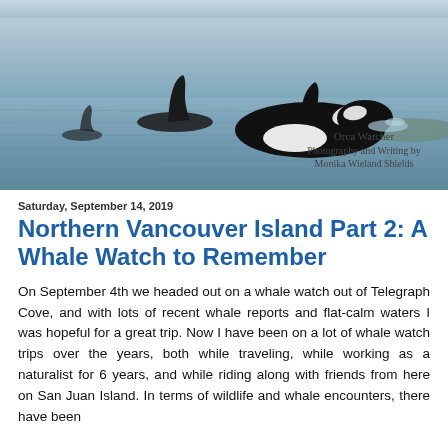[Figure (photo): Header photo of orca whales swimming in calm blue-grey water, with dorsal fins visible and one orca surfacing showing black and white coloring. Overlaid text reads: 'Orca Watcher / Photography and Writing by / Monika Wieland Shields']
Saturday, September 14, 2019
Northern Vancouver Island Part 2: A Whale Watch to Remember
On September 4th we headed out on a whale watch out of Telegraph Cove, and with lots of recent whale reports and flat-calm waters I was hopeful for a great trip. Now I have been on a lot of whale watch trips over the years, both while traveling, while working as a naturalist for 6 years, and while riding along with friends from here on San Juan Island. In terms of wildlife and whale encounters, there have been